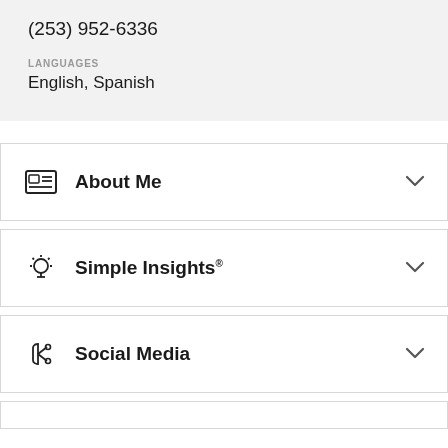(253) 952-6336
LANGUAGES
English, Spanish
About Me
Simple Insights®
Social Media